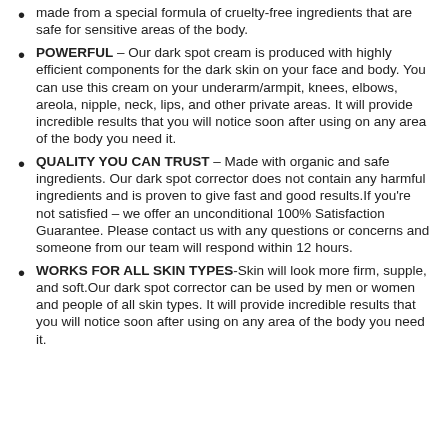made from a special formula of cruelty-free ingredients that are safe for sensitive areas of the body.
POWERFUL – Our dark spot cream is produced with highly efficient components for the dark skin on your face and body. You can use this cream on your underarm/armpit, knees, elbows, areola, nipple, neck, lips, and other private areas. It will provide incredible results that you will notice soon after using on any area of the body you need it.
QUALITY YOU CAN TRUST – Made with organic and safe ingredients. Our dark spot corrector does not contain any harmful ingredients and is proven to give fast and good results.If you're not satisfied – we offer an unconditional 100% Satisfaction Guarantee. Please contact us with any questions or concerns and someone from our team will respond within 12 hours.
WORKS FOR ALL SKIN TYPES-Skin will look more firm, supple, and soft.Our dark spot corrector can be used by men or women and people of all skin types. It will provide incredible results that you will notice soon after using on any area of the body you need it.